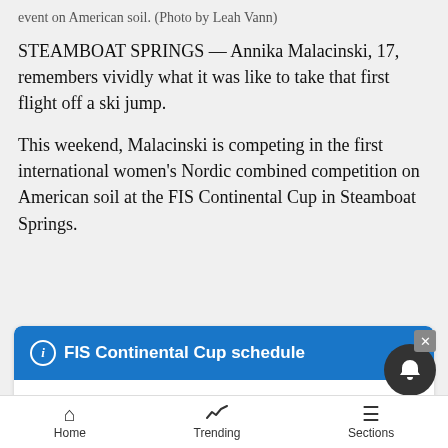event on American soil. (Photo by Leah Vann)
STEAMBOAT SPRINGS — Annika Malacinski, 17, remembers vividly what it was like to take that first flight off a ski jump.
This weekend, Malacinski is competing in the first international women's Nordic combined competition on American soil at the FIS Continental Cup in Steamboat Springs.
FIS Continental Cup schedule
Location: Howelsen Hill
Friday, Dec. 14
12:15 p.m. Competitive jump round
6 p.m. Women's 5K cross country
Home  Trending  Sections